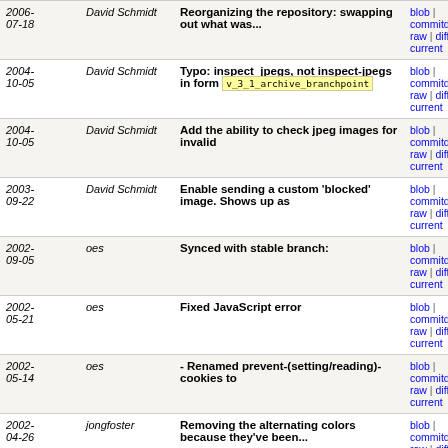| Date | Author | Message | Links |
| --- | --- | --- | --- |
| 2006-07-18 | David Schmidt | Reorganizing the repository: swapping out what was... | blob | commitdiff | raw | diff to current |
| 2004-10-05 | David Schmidt | Typo: inspect_jpegs, not inspect-jpegs in form [v_3_1_archive_branchpoint] | blob | commitdiff | raw | diff to current |
| 2004-10-05 | David Schmidt | Add the ability to check jpeg images for invalid | blob | commitdiff | raw | diff to current |
| 2003-09-22 | David Schmidt | Enable sending a custom 'blocked' image. Shows up as | blob | commitdiff | raw | diff to current |
| 2002-09-05 | oes | Synced with stable branch: | blob | commitdiff | raw | diff to current |
| 2002-05-21 | oes | Fixed JavaScript error | blob | commitdiff | raw | diff to current |
| 2002-05-14 | oes | - Renamed prevent-(setting/reading)-cookies to | blob | commitdiff | raw | diff to current |
| 2002-04-26 | jongfoster | Removing the alternating colors because they've been... | blob | commitdiff | raw | diff to current |
| 2002-04-26 | jongfoster | Cosmetic change: Making the +filter UI look the same as | blob | commitdiff | raw | diff to current |
| 2002-04-26 | jongfoster | Fixing all(?) the substitutions that were broken in the | blob | commitdiff | raw | diff to current |